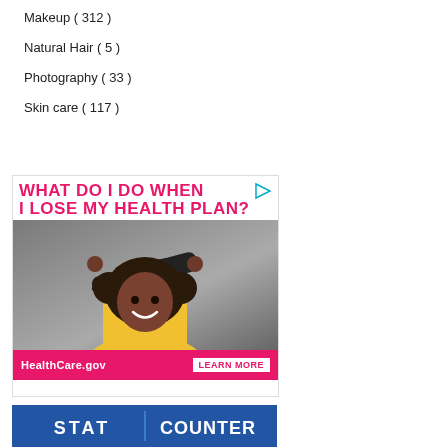Makeup ( 312 )
Natural Hair ( 5 )
Photography ( 33 )
Skin care ( 117 )
[Figure (photo): HealthCare.gov advertisement banner. Text reads 'WHAT DO I DO WHEN I LOSE MY HEALTH PLAN?' with a photo of a young woman with curly hair holding a skateboard wearing a yellow shirt. Footer shows HealthCare.gov and LEARN MORE button.]
[Figure (logo): StatCounter logo — blue background with white text STAT COUNTER in block letters]